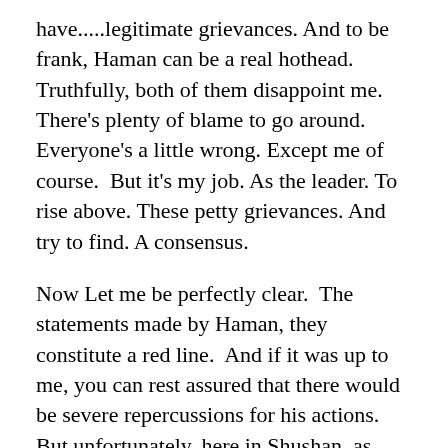have.....legitimate grievances. And to be frank, Haman can be a real hothead. Truthfully, both of them disappoint me. There's plenty of blame to go around. Everyone's a little wrong. Except me of course.  But it's my job. As the leader. To rise above. These petty grievances. And try to find. A consensus.
Now Let me be perfectly clear.  The statements made by Haman, they constitute a red line.  And if it was up to me, you can rest assured that there would be severe repercussions for his actions.  But unfortunately, here in Shushan, as your King I am not in a position to simply do these things.  First we must consult with the council of provincial